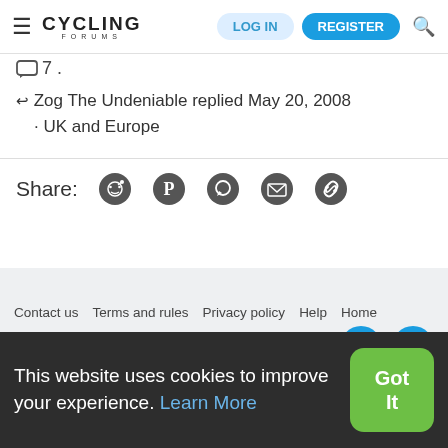CYCLING FORUMS | LOG IN | REGISTER
7 .
Zog The Undeniable replied May 20, 2008 · UK and Europe
Share:
Contact us   Terms and rules   Privacy policy   Help   Home
This website uses cookies to improve your experience. Learn More